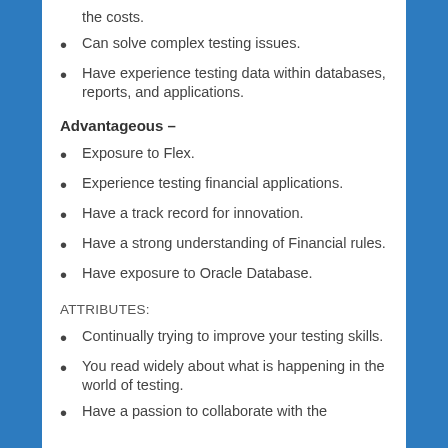the costs.
Can solve complex testing issues.
Have experience testing data within databases, reports, and applications.
Advantageous –
Exposure to Flex.
Experience testing financial applications.
Have a track record for innovation.
Have a strong understanding of Financial rules.
Have exposure to Oracle Database.
ATTRIBUTES:
Continually trying to improve your testing skills.
You read widely about what is happening in the world of testing.
Have a passion to collaborate with the...